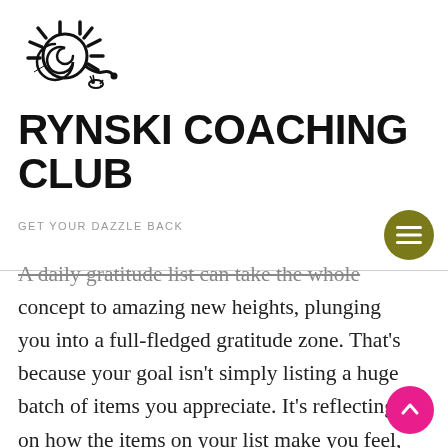[Figure (logo): Rynski Coaching Club logo: a stylized sun with a snail/spiral shell in the center, drawn in black line art]
RYNSKI COACHING CLUB
GET YOUR DAZZLE BACK
A daily gratitude list can take the whole concept to amazing new heights, plunging you into a full-fledged gratitude zone. That’s because your goal isn’t simply listing a huge batch of items you appreciate. It’s reflecting on how the items on your list make you feel,